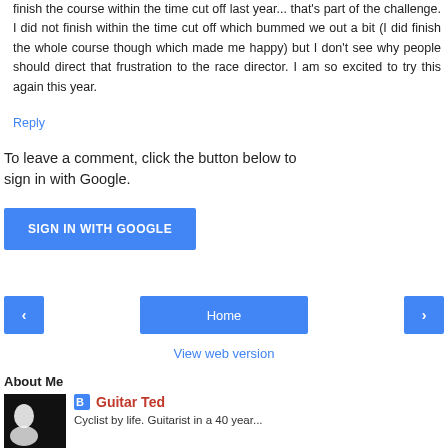finish the course within the time cut off last year... that's part of the challenge. I did not finish within the time cut off which bummed we out a bit (I did finish the whole course though which made me happy) but I don't see why people should direct that frustration to the race director. I am so excited to try this again this year.
Reply
To leave a comment, click the button below to sign in with Google.
[Figure (other): SIGN IN WITH GOOGLE button - blue rounded rectangle button with white text]
[Figure (other): Navigation bar with left arrow button, Home button, and right arrow button, all in blue]
View web version
About Me
[Figure (photo): Black and white photo thumbnail, dark background with a light figure]
Guitar Ted
Cyclist by life. Guitarist in a 40 year...